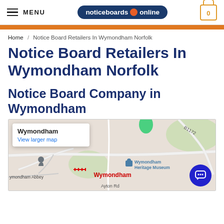MENU | noticeboards online | 0
Home / Notice Board Retailers In Wymondham Norfolk
Notice Board Retailers In Wymondham Norfolk
Notice Board Company in Wymondham
[Figure (map): Google Map showing Wymondham area with roads, Wymondham Abbey, Wymondham Heritage Museum, and Ayton Rd labeled. A white popup shows 'Wymondham' and 'View larger map'. The location name 'Wymondham' appears in red on the map.]